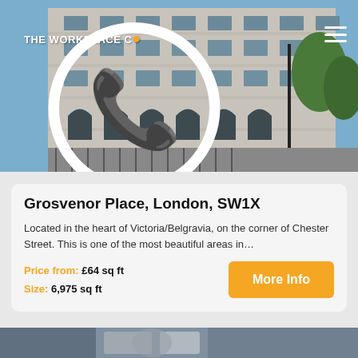[Figure (photo): Exterior photograph of a large neoclassical office building at Grosvenor Place, London, showing multiple floors with arched windows and stone facade. The Workplace Co logo overlays the top left.]
Grosvenor Place, London, SW1X
Located in the heart of Victoria/Belgravia, on the corner of Chester Street. This is one of the most beautiful areas in…
Price from: £64 sq ft
Size: 6,975 sq ft
[Figure (photo): Partial view of a second property listing photo showing architectural details of a building.]